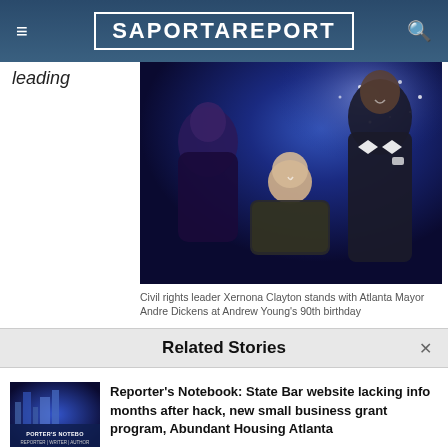SaportaReport
leading
[Figure (photo): Civil rights leader Xernona Clayton stands with Atlanta Mayor Andre Dickens at Andrew Young's 90th birthday. A woman in a patterned jacket in foreground, woman in dark outfit on left, and tall man in tuxedo on right, event venue with sparkly background.]
Civil rights leader Xernona Clayton stands with Atlanta Mayor Andre Dickens at Andrew Young's 90th birthday
Related Stories
[Figure (photo): Thumbnail image showing Atlanta skyline with Porter's Notebook branding overlay]
Reporter's Notebook: State Bar website lacking info months after hack, new small business grant program, Abundant Housing Atlanta